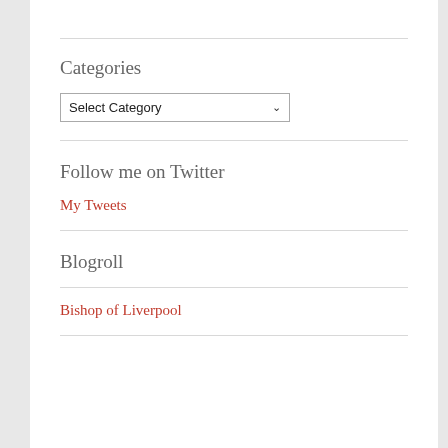Categories
[Figure (screenshot): A dropdown select box showing 'Select Category' with a down arrow]
Follow me on Twitter
My Tweets
Blogroll
Bishop of Liverpool